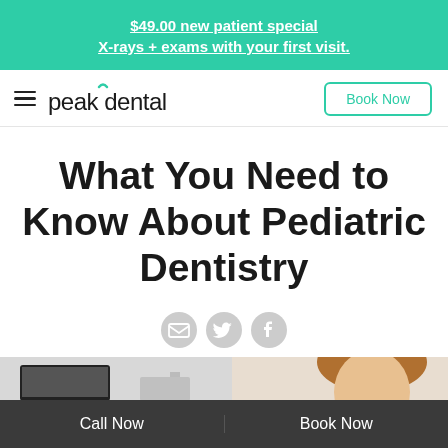$49.00 new patient special
X-rays + exams with your first visit.
[Figure (logo): Peak Dental logo with hamburger menu icon and Book Now button]
What You Need to Know About Pediatric Dentistry
[Figure (infographic): Social share icons: email, Twitter, Facebook]
[Figure (photo): Partial photo strip showing dental office equipment on left and a person on right]
Call Now    Book Now